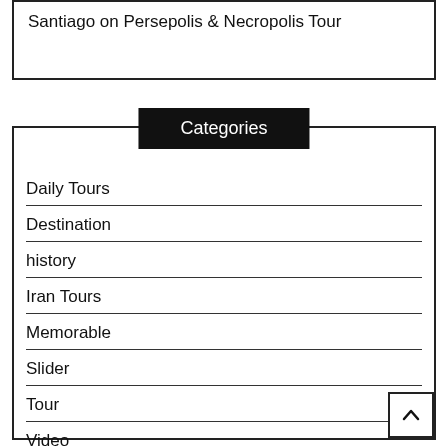Santiago on Persepolis & Necropolis Tour
Categories
Daily Tours
Destination
history
Iran Tours
Memorable
Slider
Tour
Video